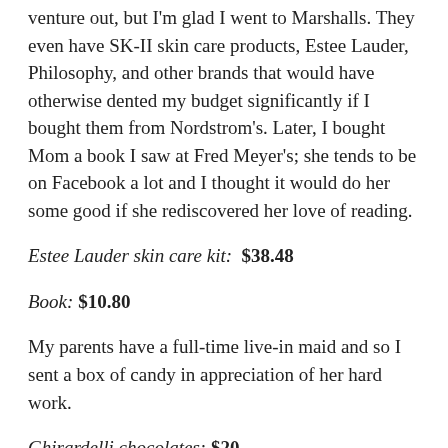venture out, but I'm glad I went to Marshalls. They even have SK-II skin care products, Estee Lauder, Philosophy, and other brands that would have otherwise dented my budget significantly if I bought them from Nordstrom's. Later, I bought Mom a book I saw at Fred Meyer's; she tends to be on Facebook a lot and I thought it would do her some good if she rediscovered her love of reading.
Estee Lauder skin care kit: $38.48
Book: $10.80
My parents have a full-time live-in maid and so I sent a box of candy in appreciation of her hard work.
Ghirardelli chocolates: $20
My sister wanted to split the shipping costs of a